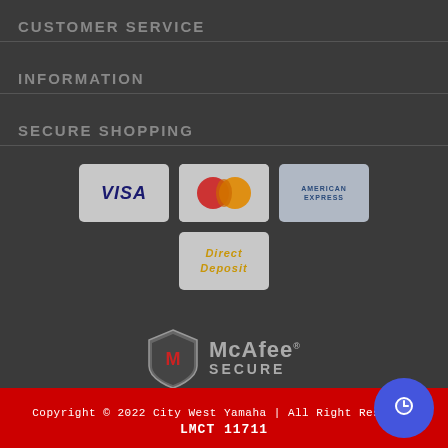CUSTOMER SERVICE
INFORMATION
SECURE SHOPPING
[Figure (infographic): Payment method icons: VISA, Mastercard, American Express, Direct Deposit. McAfee SECURE badge below.]
Copyright © 2022 City West Yamaha | All Right Reserved
LMCT 11711